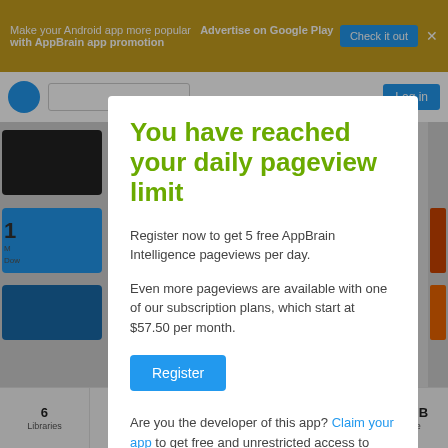[Figure (screenshot): AppBrain advertisement banner at top: 'Make your Android app more popular — Advertise on Google Play with AppBrain app promotion' with a 'Check it out' button and close X.]
[Figure (screenshot): Website background showing navigation bar with globe icon, search box, and Log in button; side panels with Play Store icon, blue and orange blocks; stats bar at bottom with: 6 Libraries, 4.4+ Android version, 11/13/19 Last updated, 2019 September App age, 66.6 MB App size.]
You have reached your daily pageview limit
Register now to get 5 free AppBrain Intelligence pageviews per day.
Even more pageviews are available with one of our subscription plans, which start at $57.50 per month.
Register
Are you the developer of this app? Claim your app to get free and unrestricted access to your app and developer data.